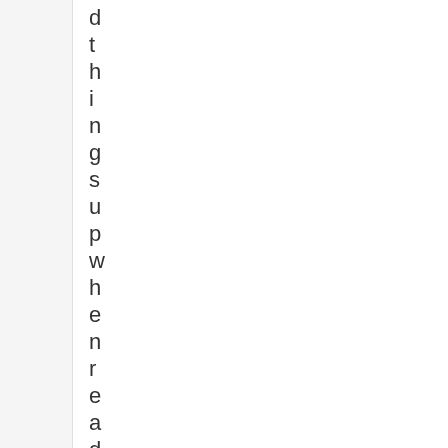d t h i n g s u p w h e n r e a d i n g